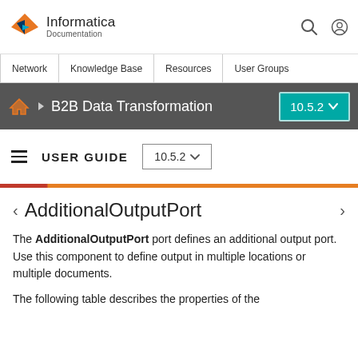Informatica Documentation
Network | Knowledge Base | Resources | User Groups
B2B Data Transformation 10.5.2
USER GUIDE 10.5.2
AdditionalOutputPort
The AdditionalOutputPort port defines an additional output port. Use this component to define output in multiple locations or multiple documents.
The following table describes the properties of the